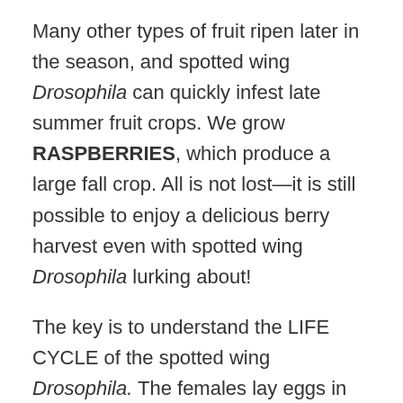Many other types of fruit ripen later in the season, and spotted wing Drosophila can quickly infest late summer fruit crops. We grow RASPBERRIES, which produce a large fall crop. All is not lost—it is still possible to enjoy a delicious berry harvest even with spotted wing Drosophila lurking about!
The key is to understand the LIFE CYCLE of the spotted wing Drosophila. The females lay eggs in ripening fruit.
A single female can lay more than 20 eggs a day over the course of several weeks. The larvae that hatch from the eggs will feed on your ripening